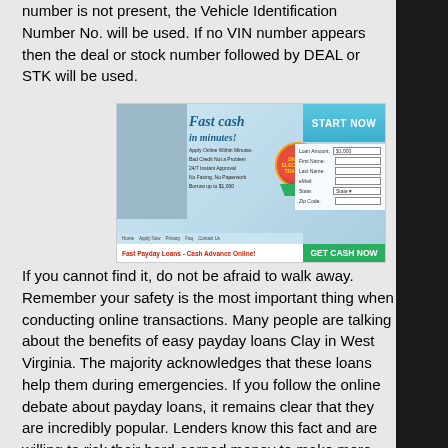number is not present, the Vehicle Identification Number No. will be used. If no VIN number appears then the deal or stock number followed by DEAL or STK will be used.
[Figure (screenshot): Advertisement for fast payday loans / cash advance online website showing a person holding cash, 'Fast cash in minutes!' headline, bullet points like 'Apply Online Within Minutes', 'Bad Credit Not a Problem', '24/7 Instant Approval', 'No Faxing, No Paperwork', 'Borrow up to $1,000', a Digital Electronic Transfer badge, a loan application form with fields for Loan Amount ($1,000), First Name, Last Name, eMail, State, Zip Code, and buttons 'START NOW' and 'GET CASH NOW'. Navigation links: Home, Apply Now, Privacy, Faq, Contact Us. Red tagline: Fast Payday Loans - Cash Advance Online!]
If you cannot find it, do not be afraid to walk away. Remember your safety is the most important thing when conducting online transactions. Many people are talking about the benefits of easy payday loans Clay in West Virginia. The majority acknowledges that these loans help them during emergencies. If you follow the online debate about payday loans, it remains clear that they are incredibly popular. Lenders know this fact and are willing to risk their hard-earned money to make more profit.